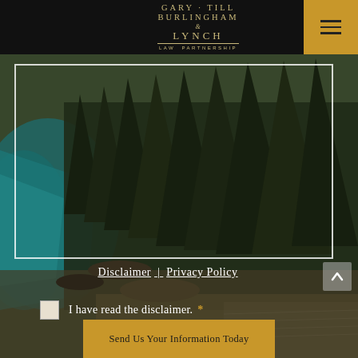[Figure (logo): Gary Till Burlingham & Lynch Law Partnership logo in gold text on black background]
[Figure (photo): Aerial landscape photo of Lake Tahoe area with pine trees, rocky shoreline, and turquoise water, shown within a white-bordered frame]
Disclaimer | Privacy Policy
I have read the disclaimer. *
Send Us Your Information Today